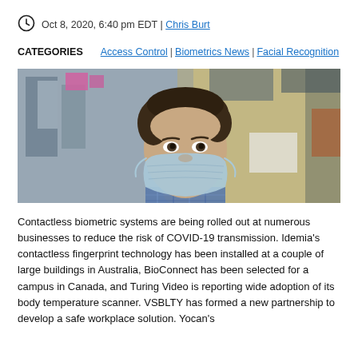Oct 8, 2020, 6:40 pm EDT | Chris Burt
CATEGORIES   Access Control | Biometrics News | Facial Recognition
[Figure (photo): Man wearing a blue surgical face mask in a busy workplace environment, looking at the camera]
Contactless biometric systems are being rolled out at numerous businesses to reduce the risk of COVID-19 transmission. Idemia's contactless fingerprint technology has been installed at a couple of large buildings in Australia, BioConnect has been selected for a campus in Canada, and Turing Video is reporting wide adoption of its body temperature scanner. VSBLTY has formed a new partnership to develop a safe workplace solution. Yocan's